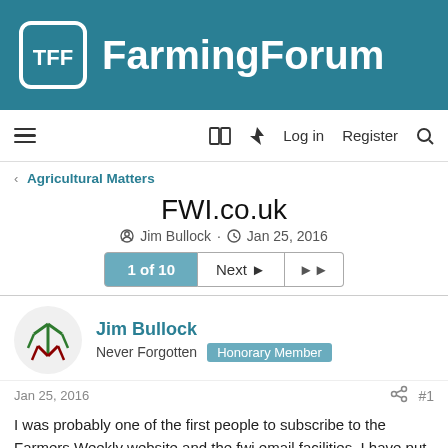TFF FarmingForum
≡  🔖  ⚡  Log in   Register  🔍
< Agricultural Matters
FWI.co.uk
Jim Bullock · Jan 25, 2016
1 of 10  Next ▶  ▶▶
Jim Bullock
Never Forgotten  Honorary Member
Jan 25, 2016  #1
I was probably one of the first people to subscribe to the Farmers Weekly website and the fwi email facilities. I have put